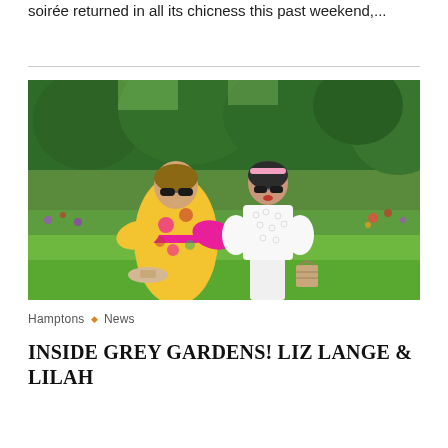soirée returned in all its chicness this past weekend,...
[Figure (photo): Two women standing outdoors in a lush garden with green grass and flowering plants. The woman on the left wears a colorful floral kimono-style wrap dress in pink, yellow, and green, with large sunglasses, and holds a straw hat. The woman on the right wears a white eyelet lace top and wide-leg pants, with sunglasses and a pink headband, and holds a wicker basket.]
Hamptons ◇ News
INSIDE GREY GARDENS! LIZ LANGE & LILAH